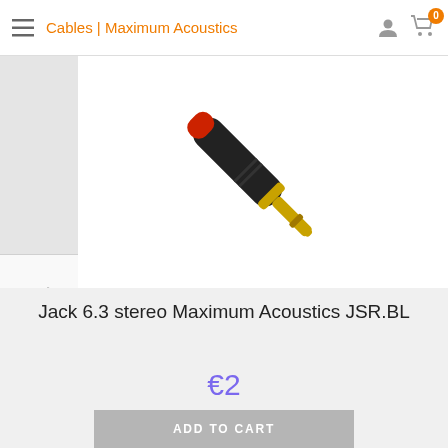Cables | Maximum Acoustics
[Figure (photo): A 6.3mm stereo jack plug connector with black body, red tip cap, and gold-plated metal plug end, shown at a diagonal angle on white background.]
Jack 6.3 stereo Maximum Acoustics JSR.BL
€2
ADD TO CART